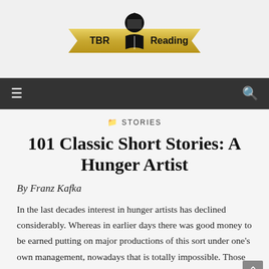[Figure (logo): TBR Reading website logo with a graduation figure holding a book, flanked by gold banner ribbons with 'TBR' on the left and 'Reading' on the right]
☰   🔍
STORIES
101 Classic Short Stories: A Hunger Artist
By Franz Kafka
In the last decades interest in hunger artists has declined considerably. Whereas in earlier days there was good money to be earned putting on major productions of this sort under one's own management, nowadays that is totally impossible. Those were different times. Back then the hunger artist captured the